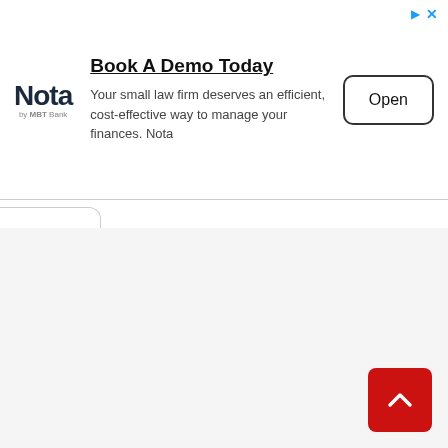[Figure (screenshot): Advertisement banner for Nota by MBT Bank. Shows Nota logo on left, title 'Book A Demo Today', description text, and an 'Open' button on the right. Top-right corner has ad icons (triangle and X).]
Book A Demo Today
Your small law firm deserves an efficient, cost-effective way to manage your finances. Nota
Open
[Figure (screenshot): Collapse tab with an upward-pointing chevron (^) on a white rounded tab attached to the left side of the page below the ad banner.]
[Figure (screenshot): Red scroll-to-top button in the bottom-right corner with a white upward-pointing chevron icon.]